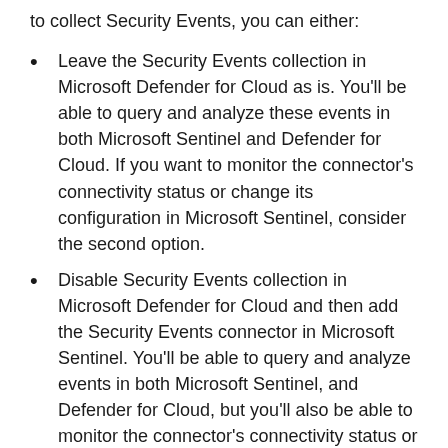to collect Security Events, you can either:
Leave the Security Events collection in Microsoft Defender for Cloud as is. You'll be able to query and analyze these events in both Microsoft Sentinel and Defender for Cloud. If you want to monitor the connector's connectivity status or change its configuration in Microsoft Sentinel, consider the second option.
Disable Security Events collection in Microsoft Defender for Cloud and then add the Security Events connector in Microsoft Sentinel. You'll be able to query and analyze events in both Microsoft Sentinel, and Defender for Cloud, but you'll also be able to monitor the connector's connectivity status or change its configuration in - and only in - Microsoft Sentinel. To disable Security Events collection in Defender for Cloud, set Windows security events to None in the